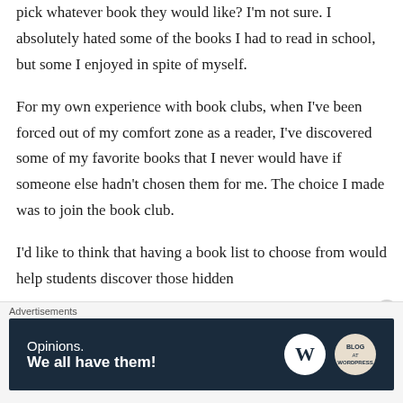pick whatever book they would like? I'm not sure. I absolutely hated some of the books I had to read in school, but some I enjoyed in spite of myself.
For my own experience with book clubs, when I've been forced out of my comfort zone as a reader, I've discovered some of my favorite books that I never would have if someone else hadn't chosen them for me. The choice I made was to join the book club.
I'd like to think that having a book list to choose from would help students discover those hidden
Advertisements
[Figure (other): Advertisement banner with dark navy background. Text reads 'Opinions. We all have them!' with WordPress and blog logos on the right.]